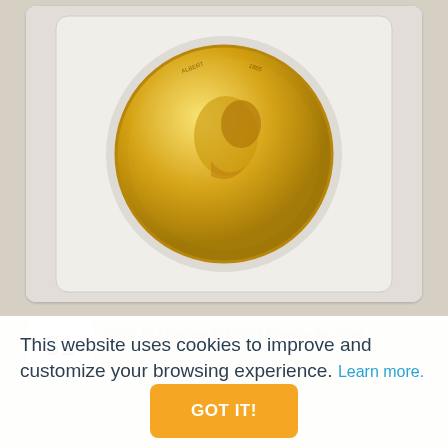[Figure (photo): A gold coin displayed in a plastic coin holder/slab, shown against a light grey background. The coin depicts a profile portrait of a person facing right, with inscriptions around the edge.]
31
NGC to Display Edelfelt Family Archive
This website uses cookies to improve and customize your browsing experience. Learn more.
GOT IT!